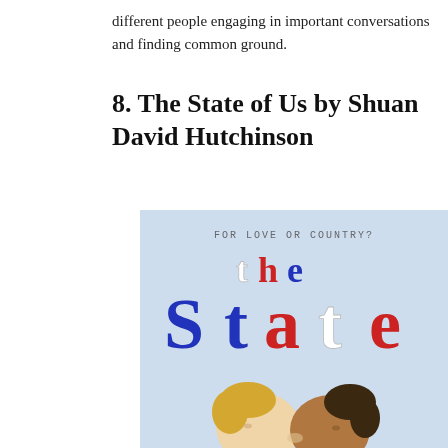different people engaging in important conversations and finding common ground.
8. The State of Us by Shuan David Hutchinson
[Figure (illustration): Book cover for 'The State of Us' by Shaun David Hutchinson. Light blue background with the text 'FOR LOVE OR COUNTRY?' at the top in monospace font. Below that, the word 'the' in mixed colors (white t, red h, blue e), and below that 'State' in large mixed colors (blue S, blue t, red a, white t, red e). At the bottom, an illustrated scene of two faces about to kiss with radiating light lines behind them.]